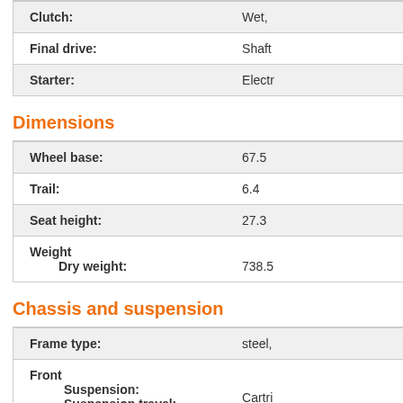| Property | Value |
| --- | --- |
| Clutch: | Wet, |
| Final drive: | Shaft |
| Starter: | Electr |
Dimensions
| Property | Value |
| --- | --- |
| Wheel base: | 67.5 |
| Trail: | 6.4 |
| Seat height: | 27.3 |
| Weight
    Dry weight: | 738.5 |
Chassis and suspension
| Property | Value |
| --- | --- |
| Frame type: | steel, |
| Front
  Suspension:
  Suspension travel:
  Fork angle:
  Brake:
  Tire: | Cartri
5.12 i
32°
Twin
150 / |